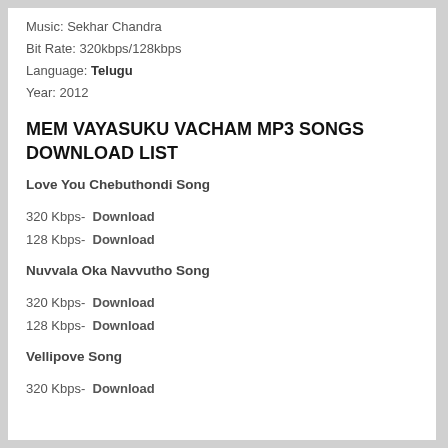Music: Sekhar Chandra
Bit Rate: 320kbps/128kbps
Language: Telugu
Year: 2012
MEM VAYASUKU VACHAM MP3 SONGS DOWNLOAD LIST
Love You Chebuthondi Song
320 Kbps- Download
128 Kbps- Download
Nuvvala Oka Navvutho Song
320 Kbps- Download
128 Kbps- Download
Vellipove Song
320 Kbps- Download